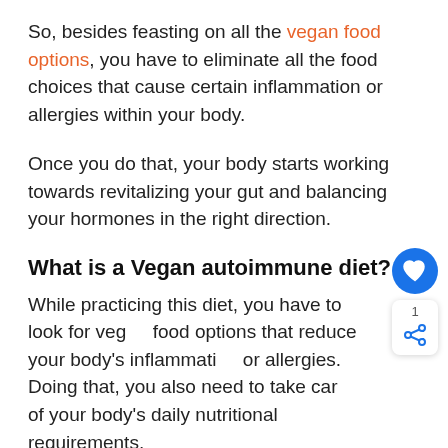So, besides feasting on all the vegan food options, you have to eliminate all the food choices that cause certain inflammation or allergies within your body.
Once you do that, your body starts working towards revitalizing your gut and balancing your hormones in the right direction.
What is a Vegan autoimmune diet?
While practicing this diet, you have to look for vegan food options that reduce your body's inflammation or allergies. Doing that, you also need to take care of your body's daily nutritional requirements.
Being a vegan, you may have to go by